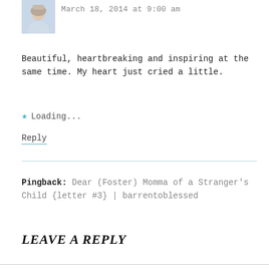[Figure (photo): Small square avatar photo of a woman with light hair, bluish tones]
March 18, 2014 at 9:00 am
Beautiful, heartbreaking and inspiring at the same time. My heart just cried a little.
★ Loading...
Reply
Pingback: Dear (Foster) Momma of a Stranger's Child {letter #3} | barrentoblessed
LEAVE A REPLY